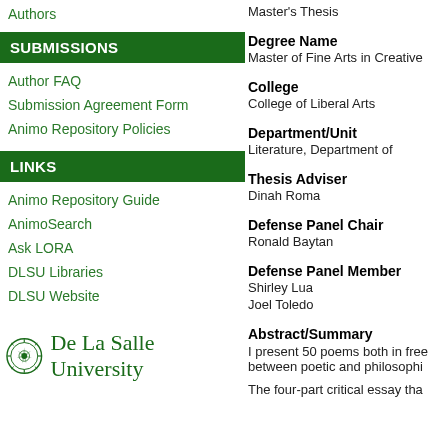Authors
SUBMISSIONS
Author FAQ
Submission Agreement Form
Animo Repository Policies
LINKS
Animo Repository Guide
AnimoSearch
Ask LORA
DLSU Libraries
DLSU Website
[Figure (logo): De La Salle University logo with circular emblem and text]
Master's Thesis
Degree Name
Master of Fine Arts in Creative
College
College of Liberal Arts
Department/Unit
Literature, Department of
Thesis Adviser
Dinah Roma
Defense Panel Chair
Ronald Baytan
Defense Panel Member
Shirley Lua
Joel Toledo
Abstract/Summary
I present 50 poems both in free between poetic and philosophi
The four-part critical essay tha